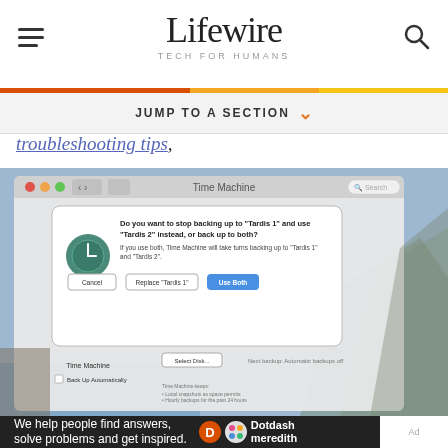Lifewire — TECH FOR HUMANS
JUMP TO A SECTION
troubleshooting tips,
[Figure (screenshot): macOS Time Machine dialog asking 'Do you want to stop backing up to Tardis 1 and use Tardis 2 instead, or back up to both?' with Cancel, Replace Tardis 1, and Use Both buttons, shown over Time Machine preferences pane.]
We help people find answers, solve problems and get inspired.  Dotdash meredith